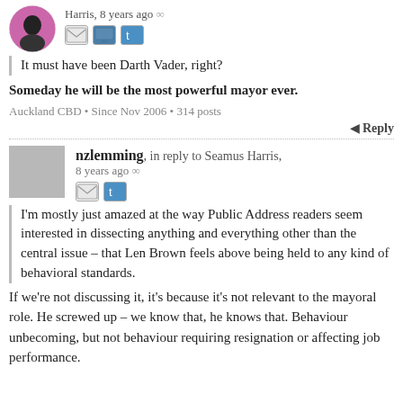Harris, 8 years ago ∞
[Figure (illustration): Circular avatar photo of user Seamus Harris with pink/magenta background]
[Figure (illustration): Social icons: mail envelope, monitor screen, Twitter bird]
It must have been Darth Vader, right?
Someday he will be the most powerful mayor ever.
Auckland CBD • Since Nov 2006 • 314 posts
↵ Reply
nzlemming, in reply to Seamus Harris, 8 years ago ∞
[Figure (illustration): Social icons: mail envelope, Twitter bird]
I'm mostly just amazed at the way Public Address readers seem interested in dissecting anything and everything other than the central issue – that Len Brown feels above being held to any kind of behavioral standards.
If we're not discussing it, it's because it's not relevant to the mayoral role. He screwed up – we know that, he knows that. Behaviour unbecoming, but not behaviour requiring resignation or affecting job performance.